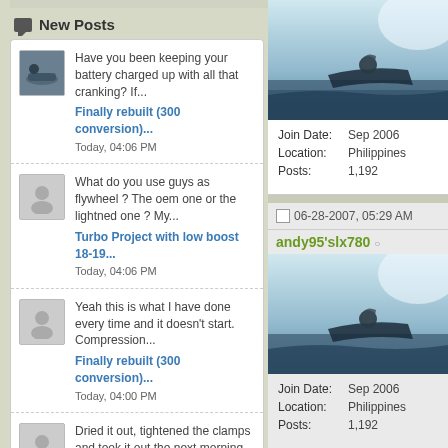New Posts
Have you been keeping your battery charged up with all that cranking? If...
Finally rebuilt (300 conversion)...
Today, 04:06 PM
What do you use guys as flywheel ? The oem one or the lightned one ? My...
Turbo Project with low boost 18-19...
Today, 04:06 PM
Yeah this is what I have done every time and it doesn't start. Compression...
Finally rebuilt (300 conversion)...
Today, 04:00 PM
Dried it out, tightened the clamps and took it out the next morning for a...
Sunk my 2022 PXTY -
[Figure (photo): Photo of a person riding a jet ski on the water, right column top]
Join Date: Sep 2006
Location: Philippines
Posts: 1,192
06-28-2007, 05:29 AM
andy95'slx780
[Figure (photo): Photo of a person riding a jet ski on the water, right column bottom]
Join Date: Sep 2006
Location: Philippines
Posts: 1,192